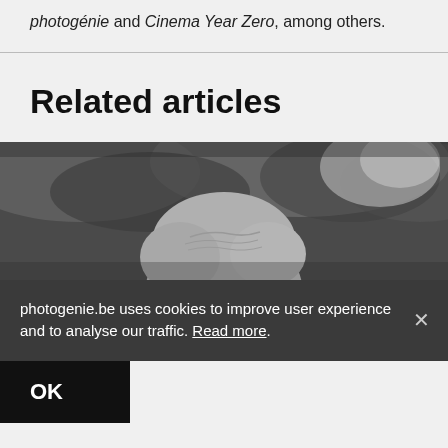photogénie and Cinema Year Zero, among others.
Related articles
[Figure (photo): Black and white photograph showing the top of a person's head with hair, against a blurry dark background.]
photogenie.be uses cookies to improve user experience and to analyse our traffic. Read more.
OK